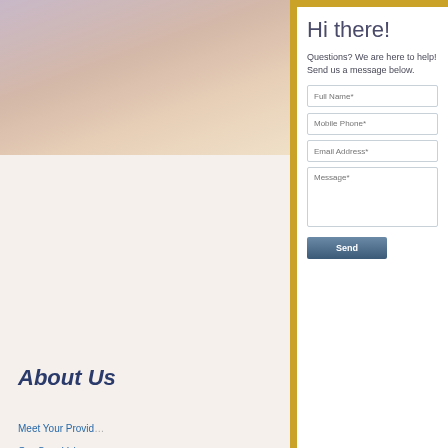[Figure (photo): Blurred sky/sunset background image in top-left area]
About Us
Meet Your Provider
Our Core Value
Suicide Prevention
Join Our Team
Clinical Distinction
[Figure (logo): The Joint Commission National Quality Approval gold seal]
Hi there!
Questions? We are here to help! Send us a message below.
Full Name*
Mobile Phone*
Email Address*
Message*
Send